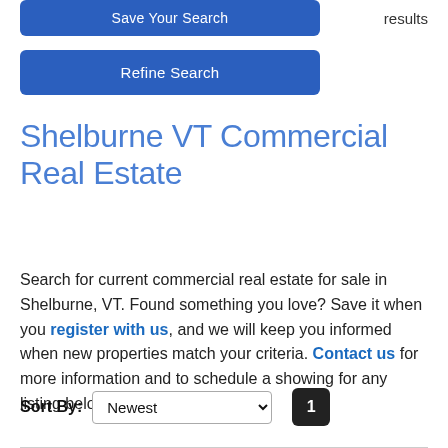Save Your Search
results
Refine Search
Shelburne VT Commercial Real Estate
Search for current commercial real estate for sale in Shelburne, VT. Found something you love? Save it when you register with us, and we will keep you informed when new properties match your criteria. Contact us for more information and to schedule a showing for any listing below.
Sort By: Newest  1